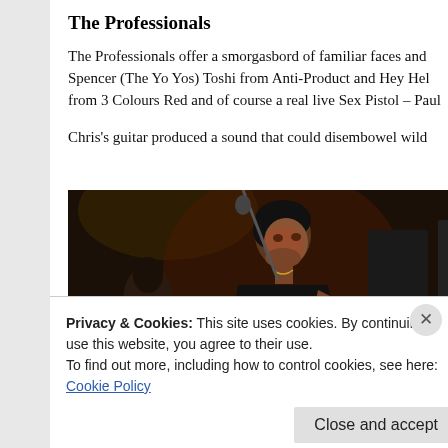The Professionals
The Professionals offer a smorgasbord of familiar faces and Spencer (The Yo Yos) Toshi from Anti-Product and Hey Hel from 3 Colours Red and of course a real live Sex Pistol – Paul
Chris's guitar produced a sound that could disembowel wild
[Figure (photo): Concert photo of a male performer playing guitar on stage under dark lighting with red tones, wearing a black t-shirt with a chain necklace and tattoos visible on his arm.]
Privacy & Cookies: This site uses cookies. By continuing to use this website, you agree to their use.
To find out more, including how to control cookies, see here:
Cookie Policy
Close and accept